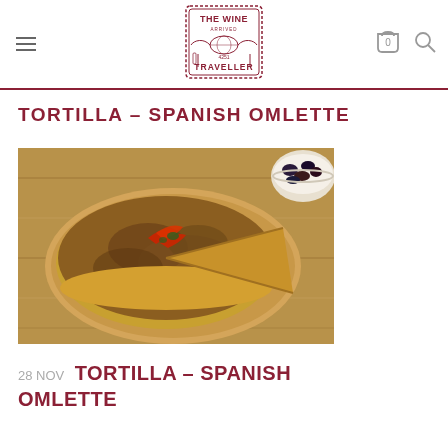The Wine Traveller — site header with logo, hamburger menu, cart (0), and search icon
TORTILLA – SPANISH OMLETTE
[Figure (photo): Photo of a Spanish tortilla (omelette) on a round wooden cutting board, with a slice cut out. Topped with red pepper strips and green herbs. A bowl of olives is visible in the top-right corner. Wooden table background.]
28 NOV TORTILLA – SPANISH OMLETTE